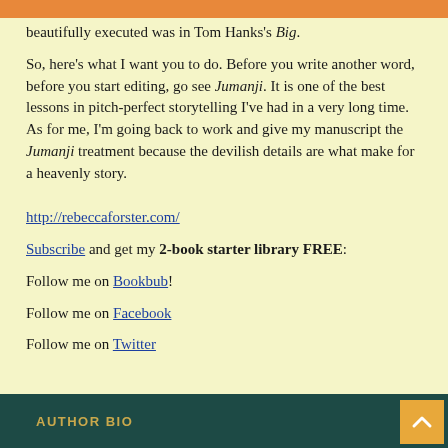beautifully executed was in Tom Hanks's Big.
So, here's what I want you to do. Before you write another word, before you start editing, go see Jumanji. It is one of the best lessons in pitch-perfect storytelling I've had in a very long time. As for me, I'm going back to work and give my manuscript the Jumanji treatment because the devilish details are what make for a heavenly story.
http://rebeccaforster.com/
Subscribe and get my 2-book starter library FREE:
Follow me on Bookbub!
Follow me on Facebook
Follow me on Twitter
AUTHOR BIO